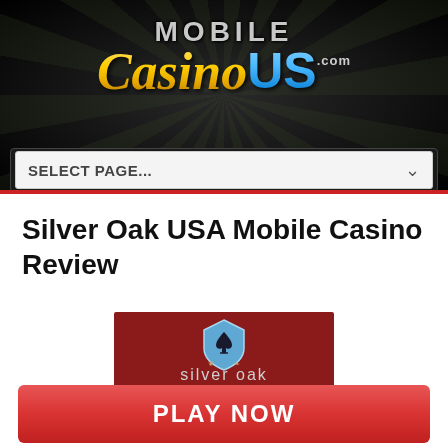[Figure (logo): MobileCasinoUS.com logo on dark background with sunburst rays]
SELECT PAGE...
Silver Oak USA Mobile Casino Review
[Figure (logo): Silver Oak online casino logo — dark red background, shield with spade icon, text 'silver oak online casino']
PLAY NOW